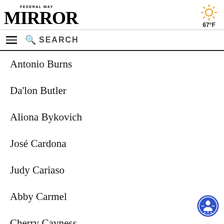FEDERAL WAY MIRROR | 67°F
Antonio Burns
Da'lon Butler
Aliona Bykovich
José Cardona
Judy Cariaso
Abby Carmel
Cherry Cavness